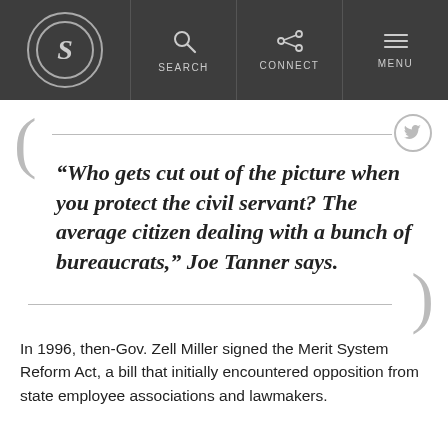S | SEARCH | CONNECT | MENU
“Who gets cut out of the picture when you protect the civil servant? The average citizen dealing with a bunch of bureaucrats,” Joe Tanner says.
In 1996, then-Gov. Zell Miller signed the Merit System Reform Act, a bill that initially encountered opposition from state employee associations and lawmakers.